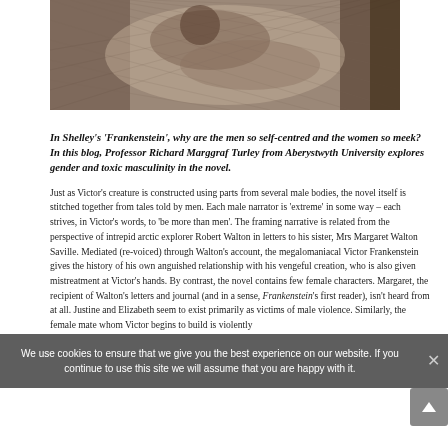[Figure (illustration): Grayscale engraving-style illustration showing a classical or mythological scene with a reclining figure, dramatic and dark in tone.]
In Shelley's 'Frankenstein', why are the men so self-centred and the women so meek? In this blog, Professor Richard Marggraf Turley from Aberystwyth University explores gender and toxic masculinity in the novel.
Just as Victor's creature is constructed using parts from several male bodies, the novel itself is stitched together from tales told by men. Each male narrator is 'extreme' in some way – each strives, in Victor's words, to 'be more than men'. The framing narrative is related from the perspective of intrepid arctic explorer Robert Walton in letters to his sister, Mrs Margaret Walton Saville. Mediated (re-voiced) through Walton's account, the megalomaniacal Victor Frankenstein gives the history of his own anguished relationship with his vengeful creation, who is also given mistreatment at Victor's hands. By contrast, the novel contains few female characters. Margaret, the recipient of Walton's letters and journal (and in a sense, Frankenstein's first reader), isn't heard from at all. Justine and Elizabeth seem to exist primarily as victims of male violence. Similarly, the female mate whom Victor begins to build is violently